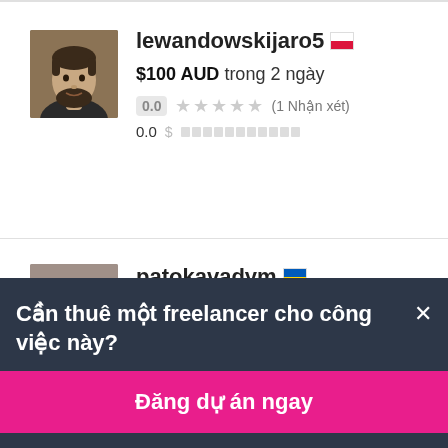[Figure (photo): Profile photo of freelancer lewandowskijaro5 - young man with beard]
lewandowskijaro5 🇵🇱
$100 AUD trong 2 ngày
0.0 ★★★★★ (1 Nhận xét)
0.0 $
[Figure (photo): Profile photo of freelancer patokavadym - young man]
patokavadym 🇺🇦
$140 AUD trong 7 ngày
Cần thuê một freelancer cho công việc này?×
Đăng dự án ngay